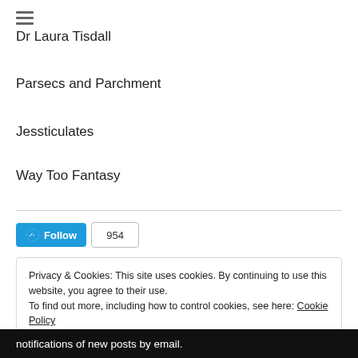Dr Laura Tisdall
Parsecs and Parchment
Jessticulates
Way Too Fantasy
[Figure (other): WordPress Follow button with follower count 954]
Privacy & Cookies: This site uses cookies. By continuing to use this website, you agree to their use.
To find out more, including how to control cookies, see here: Cookie Policy
Close and accept
notifications of new posts by email.